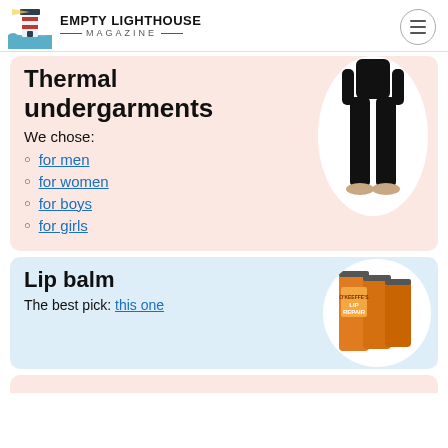Empty Lighthouse Magazine
Thermal undergarments
We chose:
for men
for women
for boys
for girls
[Figure (photo): Person wearing black thermal undergarment leggings]
Lip balm
The best pick: this one
[Figure (photo): O'Keeffe's Lip Repair lip balm sticks in orange packaging]